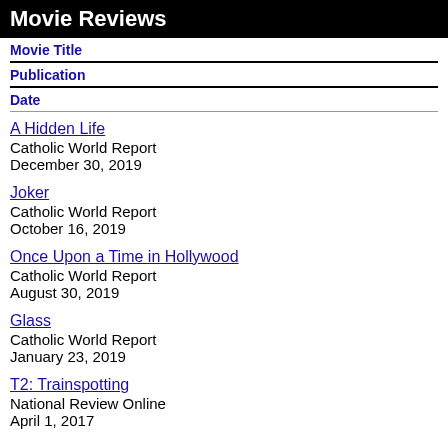Movie Reviews
Movie Title
Publication
Date
A Hidden Life
Catholic World Report
December 30, 2019
Joker
Catholic World Report
October 16, 2019
Once Upon a Time in Hollywood
Catholic World Report
August 30, 2019
Glass
Catholic World Report
January 23, 2019
T2: Trainspotting
National Review Online
April 1, 2017